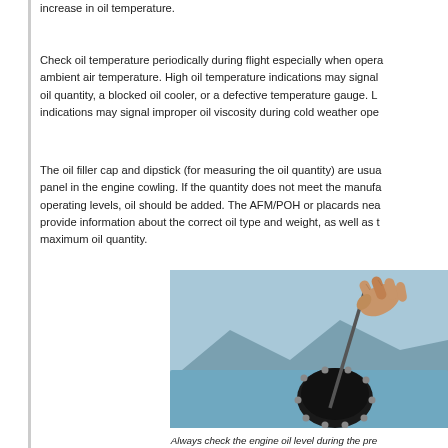increase in oil temperature.
Check oil temperature periodically during flight especially when opera ambient air temperature. High oil temperature indications may signal oil quantity, a blocked oil cooler, or a defective temperature gauge. L indications may signal improper oil viscosity during cold weather ope
The oil filler cap and dipstick (for measuring the oil quantity) are usu panel in the engine cowling. If the quantity does not meet the manufa operating levels, oil should be added. The AFM/POH or placards nea provide information about the correct oil type and weight, as well as t maximum oil quantity.
[Figure (photo): A hand holding a dipstick being removed from or inserted into an aircraft engine oil filler port on a light blue aircraft cowling.]
Always check the engine oil level during the pre inspection.